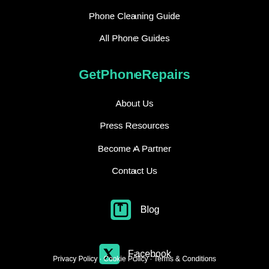Phone Cleaning Guide
All Phone Guides
GetPhoneRepairs
About Us
Press Resources
Become A Partner
Contact Us
Blog
Facebook
Twitter
Privacy Policy · Cookie Policy · Terms & Conditions